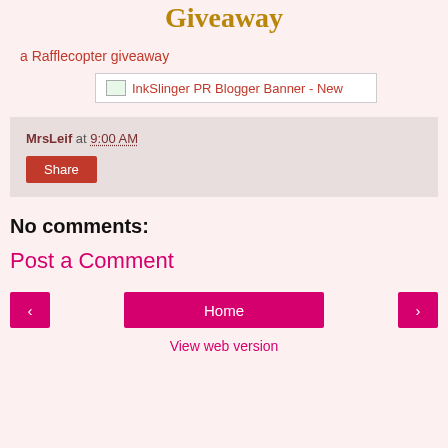Giveaway
a Rafflecopter giveaway
[Figure (other): InkSlinger PR Blogger Banner - New image placeholder]
MrsLeif at 9:00 AM
Share
No comments:
Post a Comment
‹  Home  ›
View web version